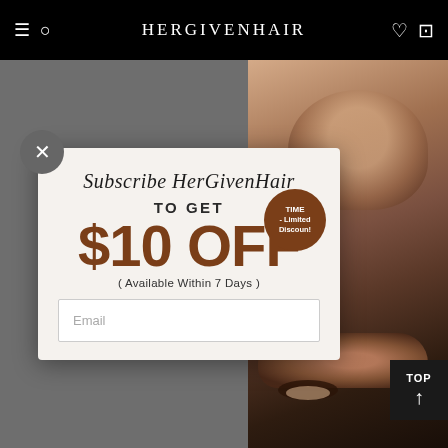HERGIVENHAIR
[Figure (screenshot): Website screenshot showing a popup modal over a product page with a woman's photo in the background]
Subscribe HerGivenHair
TO GET
TIME - Limited Discount!
$10 OFF
( Available Within 7 Days )
Email